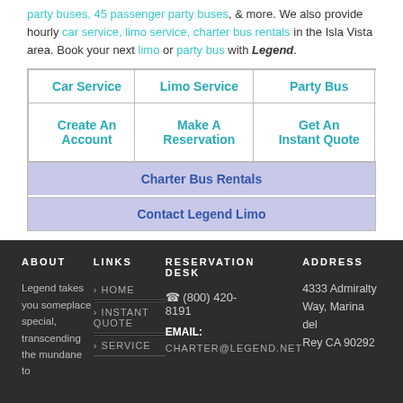party buses, 45 passenger party buses, & more. We also provide hourly car service, limo service, charter bus rentals in the Isla Vista area. Book your next limo or party bus with Legend.
Car Service
Limo Service
Party Bus
Create An Account
Make A Reservation
Get An Instant Quote
Charter Bus Rentals
Contact Legend Limo
ABOUT
LINKS
RESERVATION DESK
ADDRESS
Legend takes you someplace special, transcending the mundane to
HOME
INSTANT QUOTE
SERVICE
(800) 420-8191
EMAIL: CHARTER@LEGEND.NET
4333 Admiralty Way, Marina del Rey CA 90292